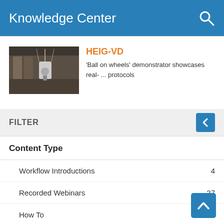Knowledge Center
HEIG-VD
'Ball on wheels' demonstrator showcases real- ... protocols
FILTER
Content Type
Workflow Introductions    4
Recorded Webinars    27
How To    12
Industry Use Cases    59
✔ Success Stories    44
✔ Reference Applications    7
Whitepapers    4
Published Papers...